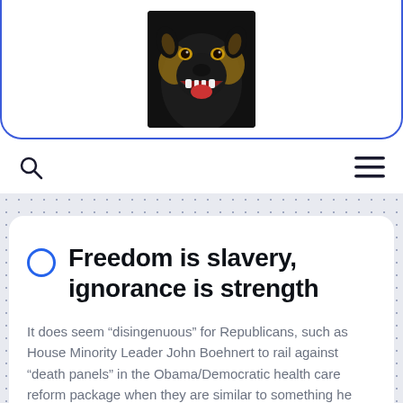[Figure (photo): Close-up photo of a snarling Rottweiler dog with mouth open showing teeth, dark background]
Freedom is slavery, ignorance is strength
It does seem “disingenuous” for Republicans, such as House Minority Leader John Boehnert to rail against “death panels” in the Obama/Democratic health care reform package when they are similar to something he